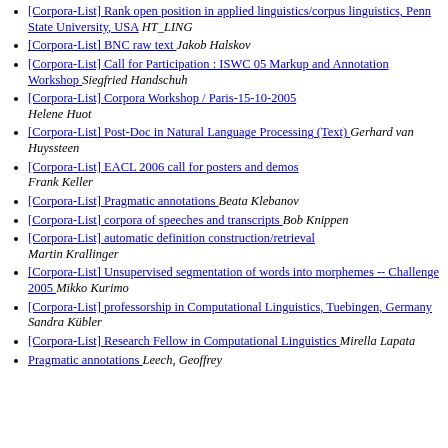[Corpora-List] Rank open position in applied linguistics/corpus linguistics, Penn State University, USA  HT_LING
[Corpora-List] BNC raw text  Jakob Halskov
[Corpora-List] Call for Participation : ISWC 05 Markup and Annotation Workshop  Siegfried Handschuh
[Corpora-List] Corpora Workshop / Paris-15-10-2005  Helene Huot
[Corpora-List] Post-Doc in Natural Language Processing (Text)  Gerhard van Huyssteen
[Corpora-List] EACL 2006 call for posters and demos  Frank Keller
[Corpora-List] Pragmatic annotations  Beata Klebanov
[Corpora-List] corpora of speeches and transcripts  Bob Knippen
[Corpora-List] automatic definition construction/retrieval  Martin Krallinger
[Corpora-List] Unsupervised segmentation of words into morphemes -- Challenge 2005  Mikko Kurimo
[Corpora-List] professorship in Computational Linguistics, Tuebingen, Germany  Sandra Kübler
[Corpora-List] Research Fellow in Computational Linguistics  Mirella Lapata
Pragmatic annotations  Leech, Geoffrey